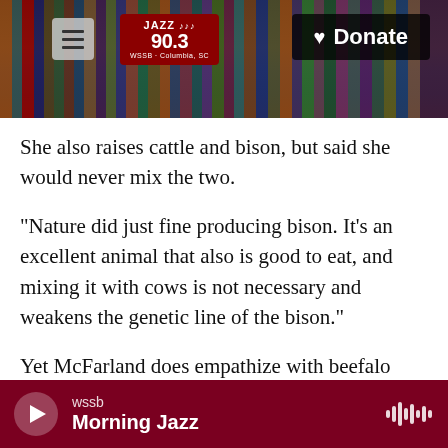[Figure (screenshot): Website header showing bookshelf background with Jazz 90.3 logo in red box, hamburger menu icon, and black Donate button with heart icon]
She also raises cattle and bison, but said she would never mix the two.
"Nature did just fine producing bison. It's an excellent animal that also is good to eat, and mixing it with cows is not necessary and weakens the genetic line of the bison."
Yet McFarland does empathize with beefalo producers, who are trying to raise, promote and sell a niche meat, just as she does with bison.
"A lot of times it's hard to find that middleman to
wssb Morning Jazz